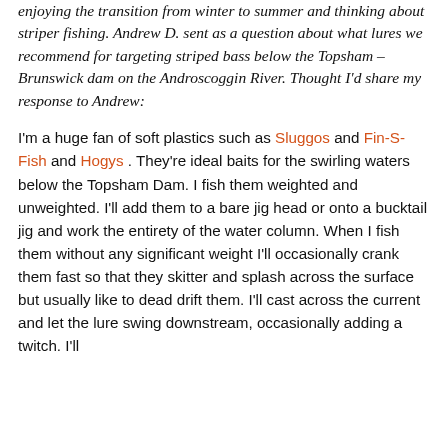enjoying the transition from winter to summer and thinking about striper fishing. Andrew D. sent as a question about what lures we recommend for targeting striped bass below the Topsham – Brunswick dam on the Androscoggin River. Thought I'd share my response to Andrew:
I'm a huge fan of soft plastics such as Sluggos and Fin-S-Fish and Hogys . They're ideal baits for the swirling waters below the Topsham Dam. I fish them weighted and unweighted. I'll add them to a bare jig head or onto a bucktail jig and work the entirety of the water column. When I fish them without any significant weight I'll occasionally crank them fast so that they skitter and splash across the surface but usually like to dead drift them. I'll cast across the current and let the lure swing downstream, occasionally adding a twitch. I'll